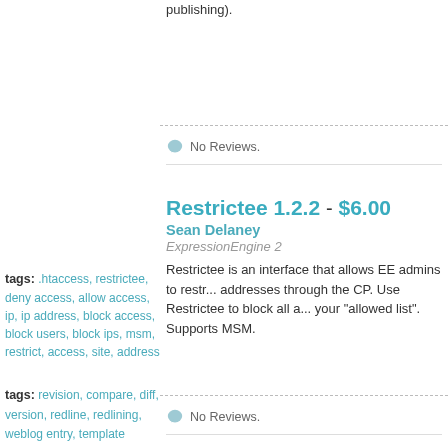publishing).
No Reviews.
tags: .htaccess, restrictee, deny access, allow access, ip, ip address, block access, block users, block ips, msm, restrict, access, site, address
Restrictee 1.2.2 - $6.00
Sean Delaney
ExpressionEngine 2
Restrictee is an interface that allows EE admins to restrict IP addresses through the CP. Use Restrictee to block all a... your "allowed list". Supports MSM.
No Reviews.
tags: revision, compare, diff, version, redline, redlining, weblog entry, template
Redline
Oliver Heine (silenz)
ExpressionEngine 1.x
The Redline addon extends ExpressionEngine's native... allows you to see at a glance what changes have been...